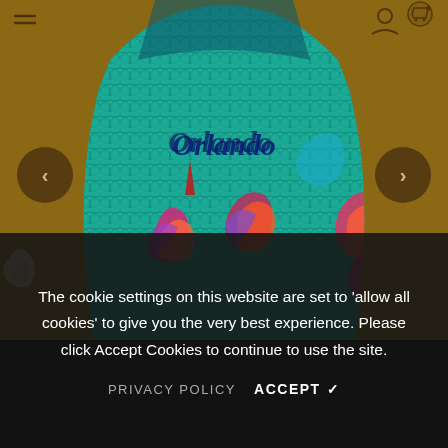[Figure (photo): A colorful swimsuit/garment with a teal/green fish scale pattern and tropical fish tails in red, orange, purple, and blue hues. The item is displayed on a wooden surface. A brand name 'Orlando' or similar is written in cursive across the garment. Navigation arrows are visible on left and right sides. A hamburger menu icon and cart/user icons appear at top.]
The cookie settings on this website are set to 'allow all cookies' to give you the very best experience.  Please click Accept Cookies to continue to use the site.
PRIVACY POLICY   ACCEPT ✔